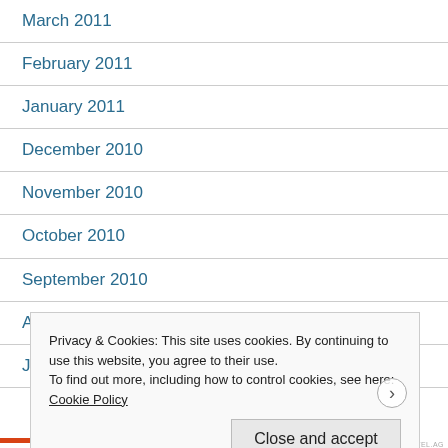March 2011
February 2011
January 2011
December 2010
November 2010
October 2010
September 2010
August 2010
July 2010
Privacy & Cookies: This site uses cookies. By continuing to use this website, you agree to their use.
To find out more, including how to control cookies, see here: Cookie Policy
Close and accept